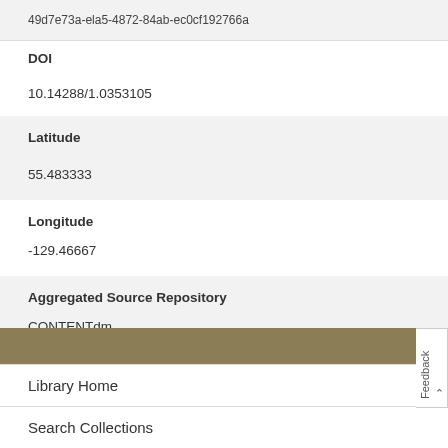49d7e73a-ela5-4872-84ab-ec0cf192766a
DOI
10.14288/1.0353105
Latitude
55.483333
Longitude
-129.46667
Aggregated Source Repository
CONTENTdm
Usage Statistics
Library Home
Search Collections